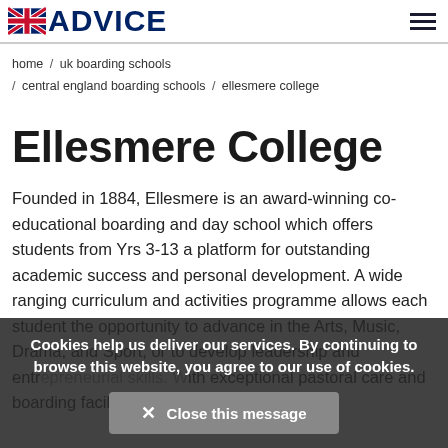ADVICE (UK Boarding Schools Advice logo with Union Jack flag)
home / uk boarding schools / central england boarding schools / ellesmere college
Ellesmere College
Founded in 1884, Ellesmere is an award-winning co-educational boarding and day school which offers students from Yrs 3-13 a platform for outstanding academic success and personal development. A wide ranging curriculum and activities programme allows each student the opportunity to advance in the Arts, Music, Drama, and Sport, or to develop leadership and entrepreneurial skills. With exceptional pastoral care and boarding facilities, Ellesmere College allows
Cookies help us deliver our services. By continuing to browse this website, you agree to our use of cookies.
× Close this message